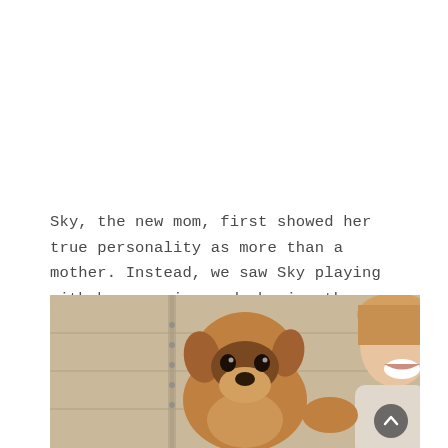Sky, the new mom, first showed her true personality as more than a mother. Instead, we saw Sky playing with her puppies and chasing them around the family's backyard.
[Figure (photo): A brown puppy held up in front of a garage door, with a smiling woman visible on the right side of the frame.]